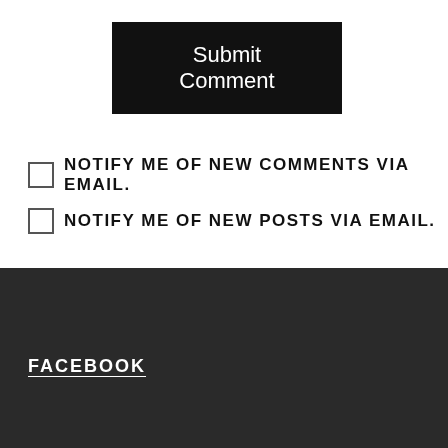Submit Comment
NOTIFY ME OF NEW COMMENTS VIA EMAIL.
NOTIFY ME OF NEW POSTS VIA EMAIL.
FACEBOOK